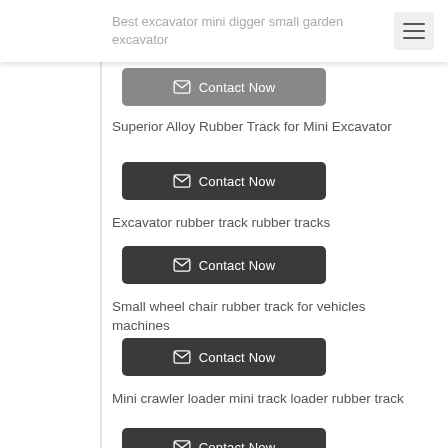Best excavator mini digger small garden excavator
Contact Now
Superior Alloy Rubber Track for Mini Excavator
Contact Now
Excavator rubber track rubber tracks
Contact Now
Small wheel chair rubber track for vehicles machines
Contact Now
Mini crawler loader mini track loader rubber track
Contact Now
Rubber track used for mini excavator